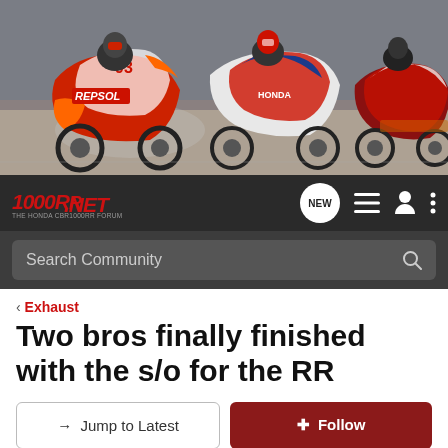[Figure (photo): Hero banner showing three Honda CBR1000RR motorcycles racing, including a Repsol Honda with number 93, on a race track]
1000RR.NET - THE HONDA CBR1000RR FORUM, navigation with NEW button, hamburger menu, user icon, and more options
Search Community
< Exhaust
Two bros finally finished with the s/o for the RR
→ Jump to Latest
+ Follow
1 - 13 of 13 Posts